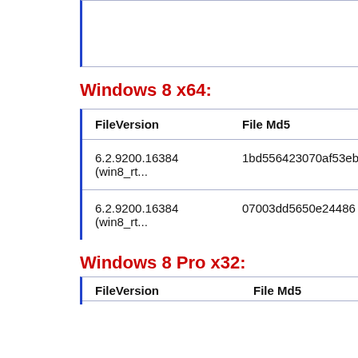Windows 8 x64:
| FileVersion | File Md5 |
| --- | --- |
| 6.2.9200.16384 (win8_rt... | 1bd556423070af53eb |
| 6.2.9200.16384 (win8_rt... | 07003dd5650e24486 |
Windows 8 Pro x32:
| FileVersion | File Md5 |
| --- | --- |